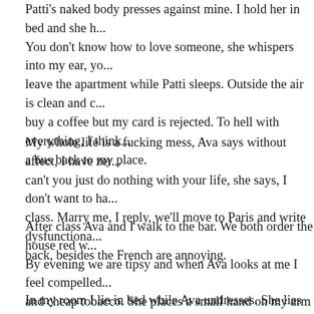Patti's naked body presses against mine. I hold her in bed and she... You don't know how to love someone, she whispers into my ear, yo... leave the apartment while Patti sleeps. Outside the air is clean and c... buy a coffee but my card is rejected. To hell with everything, I think... a bus back to my place.
My whole life is a fucking mess, Ava says without affect, I have zer... can't you just do nothing with your life, she says, I don't want to ha... class. Marry me, I reply, we'll move to Paris and write dysfunctiona... back, besides the French are annoying.
After class Ava and I walk to the bar. We both order the house red w... By evening we are tipsy and when Ava looks at me I feel compelled... and cheap tobacco. She places a small hand on my arm and for a mo... before closing her eyes and rubbing her nose. I'm still with Jack, sh... you're both too afraid to break up with the other. It's the same betw...
In my room I lie in bed while Ava undresses. She lies next to me an... bodies are tired and sore and sweaty. Afterwards Ava wraps her arm...